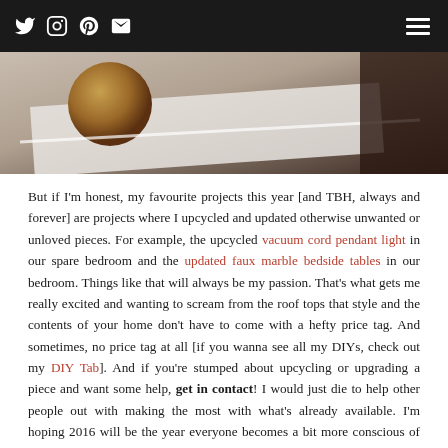[Social icons: Twitter, Instagram, Pinterest, Email] [Hamburger menu]
[Figure (photo): Close-up photo of a white surface with a round bronze/gold circular object and a diagonal white line or edge, dark background on the right.]
But if I'm honest, my favourite projects this year [and TBH, always and forever] are projects where I upcycled and updated otherwise unwanted or unloved pieces. For example, the upcycled vacuum cord pendant light in our spare bedroom and the updated faux marble bedside tables in our bedroom. Things like that will always be my passion. That's what gets me really excited and wanting to scream from the roof tops that style and the contents of your home don't have to come with a hefty price tag. And sometimes, no price tag at all [if you wanna see all my DIYs, check out my DIY Tab]. And if you're stumped about upcycling or upgrading a piece and want some help, get in contact! I would just die to help other people out with making the most with what's already available. I'm hoping 2016 will be the year everyone becomes a bit more conscious of where their stuff comes from and at what cost.

At the very least, I hope you had a lovely 2015. Even if not all of it was perfect, it got you to where you are now. And from me, a massive thank you. If you're